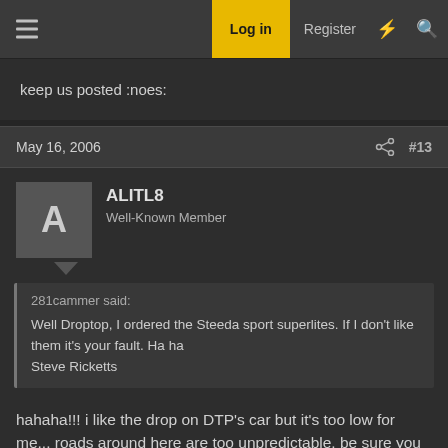Log in  Register
keep us posted :noes:
May 16, 2006  #13
ALITL8
Well-Known Member
281cammer said:
Well Droptop, I ordered the Steeda sport superlites. If I don't like them it's your fault. Ha ha
Steve Ricketts
hahaha!!! i like the drop on DTP's car but it's too low for me... roads around here are too unpredictable. be sure you